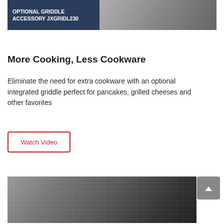[Figure (photo): Product photo showing optional griddle accessory JXGRIDL230 with dark blue overlay text on a cooking surface]
More Cooking, Less Cookware
Eliminate the need for extra cookware with an optional integrated griddle perfect for pancakes, grilled cheeses and other favorites
Watch Video
[Figure (photo): Photo of a kitchen scene with brick tile backsplash and cooking pot, partially visible]